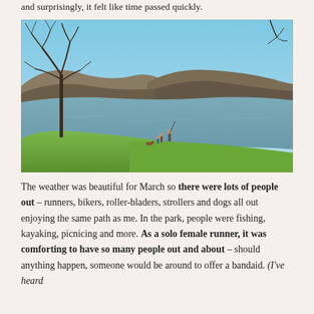and surprisingly, it felt like time passed quickly.
[Figure (photo): Outdoor lake scene in early spring. A calm lake is surrounded by wooded hills under a clear blue sky. A large bare tree stands on the left. Several people stand on a grassy slope near the water's edge, apparently fishing.]
The weather was beautiful for March so there were lots of people out – runners, bikers, roller-bladers, strollers and dogs all out enjoying the same path as me. In the park, people were fishing, kayaking, picnicing and more. As a solo female runner, it was comforting to have so many people out and about – should anything happen, someone would be around to offer a bandaid. (I've heard